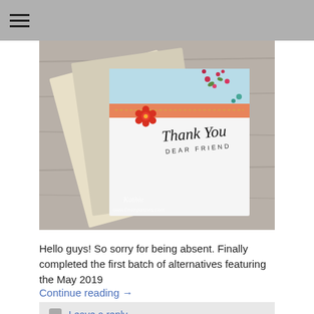☰
[Figure (photo): Photo of handmade thank you greeting cards on a wooden surface. Cards feature floral designs, a salmon/coral stripe, and cursive text reading 'Thank You Dear Friend'. Watermark reads 'Kathie www.Dnarlywishes.com'.]
Hello guys! So sorry for being absent. Finally completed the first batch of alternatives featuring the May 2019
Continue reading →
Leave a reply
Paper Pumpkin April 2019 | Alternative 2 & Video
May 4, 2019  Kathie
[Figure (photo): Partial photo of a handmade card featuring green leaf/botanical elements and teal button accents on a wooden surface with a pink border visible.]